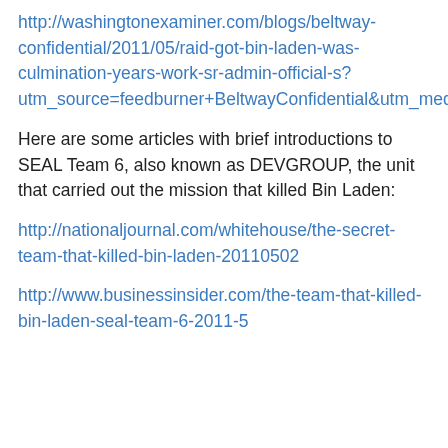http://washingtonexaminer.com/blogs/beltway-confidential/2011/05/raid-got-bin-laden-was-culmination-years-work-sr-admin-official-s?utm_source=feedburner+BeltwayConfidential&utm_medium=feed+Beltway+Confidential&utm_campaign=Feed%3A+BeltwayConfidential+%28Beltway+Confidential%29feed&utm_content=feed&utm_term=feed
Here are some articles with brief introductions to SEAL Team 6, also known as DEVGROUP, the unit that carried out the mission that killed Bin Laden:
http://nationaljournal.com/whitehouse/the-secret-team-that-killed-bin-laden-20110502
http://www.businessinsider.com/the-team-that-killed-bin-laden-seal-team-6-2011-5